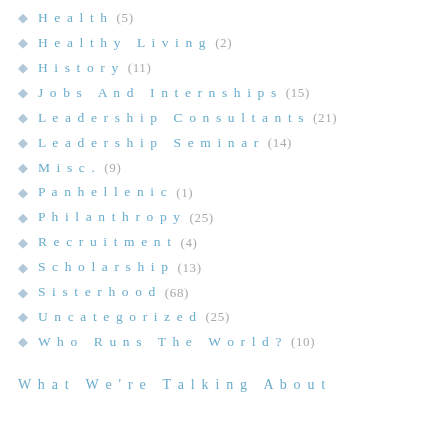Health (5)
Healthy Living (2)
History (11)
Jobs And Internships (15)
Leadership Consultants (21)
Leadership Seminar (14)
Misc. (9)
Panhellenic (1)
Philanthropy (25)
Recruitment (4)
Scholarship (13)
Sisterhood (68)
Uncategorized (25)
Who Runs The World? (10)
What We're Talking About